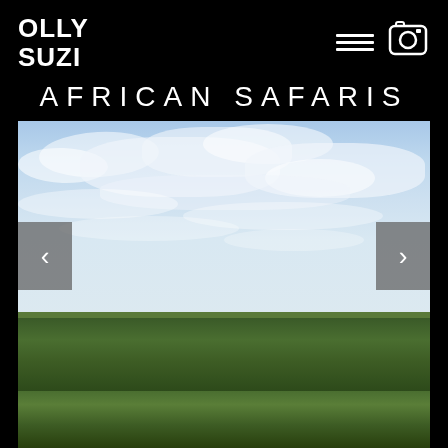OLLY SUZI
AFRICAN SAFARIS
[Figure (photo): African savanna landscape with wide blue sky with scattered white clouds in the upper portion and lush green grassland/savanna vegetation along the horizon, with navigation arrows (< >) on left and right sides for a slideshow]